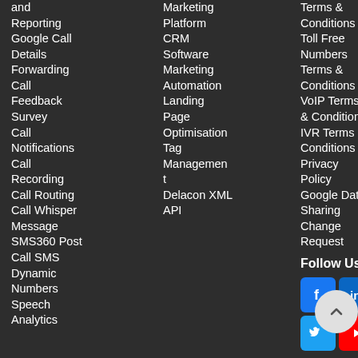and Reporting
Google Call Details Forwarding
Call Feedback Survey
Call Notifications
Call Recording
Call Routing
Call Whisper Message
SMS360 Post Call SMS
Dynamic Numbers
Speech Analytics
Marketing Platform
CRM Software
Marketing Automation
Landing Page Optimisation
Tag Management
Delacon XML API
Terms & Conditions
Toll Free Numbers Terms & Conditions
VoIP Terms & Conditions
IVR Terms & Conditions
Privacy Policy
Google Data Sharing Change Request
Follow Us
[Figure (other): Social media icons: Facebook, LinkedIn, Twitter, YouTube. Back-to-top button (circle with up arrow).]